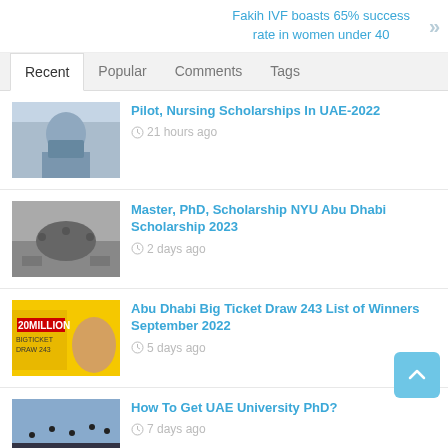Fakih IVF boasts 65% success rate in women under 40
Recent | Popular | Comments | Tags
Pilot, Nursing Scholarships In UAE-2022 — 21 hours ago
Master, PhD, Scholarship NYU Abu Dhabi Scholarship 2023 — 2 days ago
Abu Dhabi Big Ticket Draw 243 List of Winners September 2022 — 5 days ago
How To Get UAE University PhD? — 7 days ago
How To Get Scholarship And Study In...